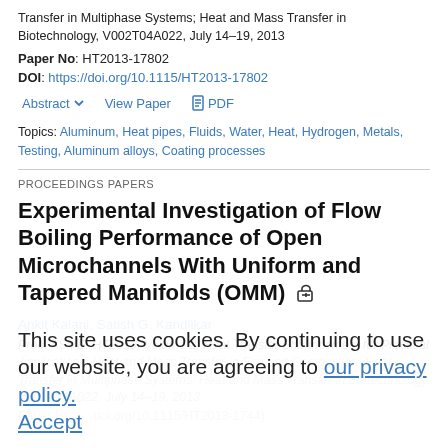Transfer in Multiphase Systems; Heat and Mass Transfer in Biotechnology, V002T04A022, July 14–19, 2013
Paper No: HT2013-17802
DOI: https://doi.org/10.1115/HT2013-17802
Abstract   View Paper   PDF
Topics: Aluminum, Heat pipes, Fluids, Water, Heat, Hydrogen, Metals, Testing, Aluminum alloys, Coating processes
PROCEEDINGS PAPERS
Experimental Investigation of Flow Boiling Performance of Open Microchannels With Uniform and Tapered Manifolds (OMM)
Ankit Kalani, Satish G. Kandlikar
Proc. ASME. HT2013, Volume 2: Heat Transfer Enhancement for Practical Applications; Heat and Mass Transfer in Fire and Combustion; Heat Transfer in Multiphase Systems; Heat and Mass Transfer in Biotechnology, V002T04A022, July 14–19, 2013
This site uses cookies. By continuing to use our website, you are agreeing to our privacy policy. Accept